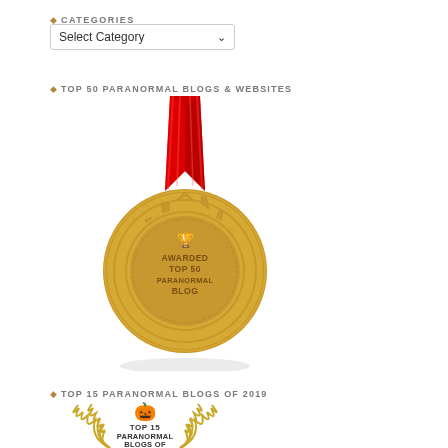CATEGORIES
Select Category
TOP 50 PARANORMAL BLOGS & WEBSITES
[Figure (illustration): Gold award medal with red ribbon. Text on medal reads: AWARDED TOP 50 PARANORMAL BLOG. Trophy/cup icon above text.]
TOP 15 PARANORMAL BLOGS OF 2019
[Figure (illustration): Award laurel badge with jack-o-lantern icon. Text reads: TOP 15 PARANORMAL BLOGS OF 2019. Gold laurel branches on both sides.]